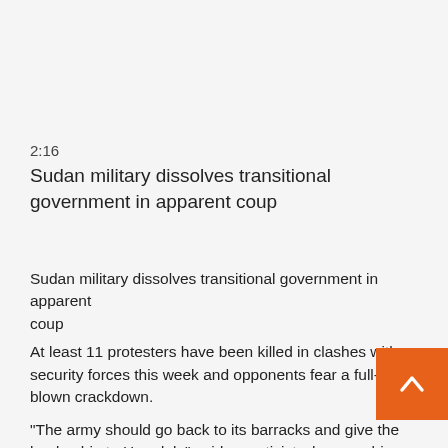2:16
Sudan military dissolves transitional government in apparent coup
Sudan military dissolves transitional government in apparent coup
At least 11 protesters have been killed in clashes with security forces this week and opponents fear a full-blown crackdown.
"The army should go back to its barracks and give the leadership to Hamdok," said an activist who gave his name as Mohamed, who planned to protest. "Our demand is a civil country, a democratic country, nothing less than that."
In local neighborhoods, protest groups blocked roads overnight with stones, bricks, tree branches and plastic pipes